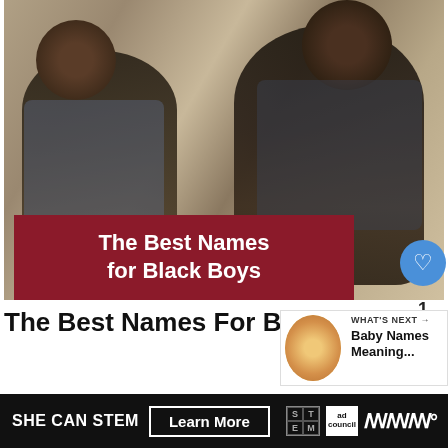[Figure (photo): Two young Black boys sitting on steps, wearing casual shirts. A dark red/maroon banner overlay at the bottom reads 'The Best Names for Black Boys']
The Best Names For Black Boys
[Figure (infographic): What's Next callout box with a baby photo thumbnail and text 'Baby Names Meaning...']
Find the best names for black boys that you can use
[Figure (infographic): Ad banner: SHE CAN STEM with Learn More button, STEM logo, Ad Council logo, and W logo]